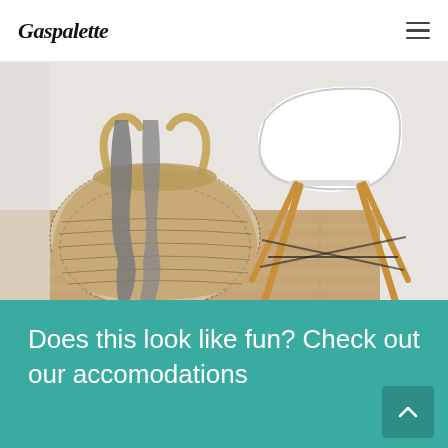Gaspalette
[Figure (photo): Interior photo showing a woven seagrass belly basket with a grey throw blanket draped over it, next to a white Eames-style chair with wooden legs, on a light wood floor with white walls in the background.]
Does this look like fun? Check out our accomodations